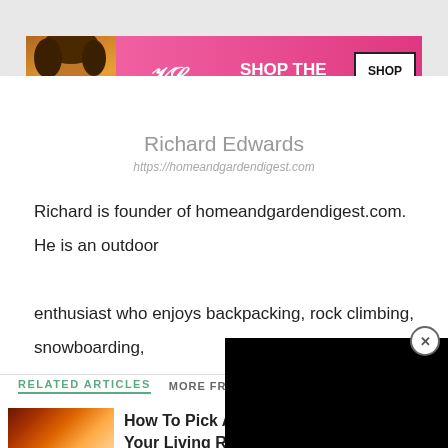[Figure (photo): Victoria's Secret advertisement banner with woman's face on pink background, showing 'SHOP THE COLLECTION' text and 'SHOP NOW' button]
Richard Edwards
https://homeandgardendigest.com
Richard is founder of homeandgardendigest.com. He is an outdoor enthusiast who enjoys backpacking, rock climbing, snowboarding, and anything else that l
[Figure (screenshot): Black video player overlay in bottom right corner with close (X) button]
RELATED ARTICLES
MORE FROM AUTHOR
[Figure (photo): Thumbnail image of fireplace with warm orange glow]
How To Pick A Fireplace According To Your Living Room Design